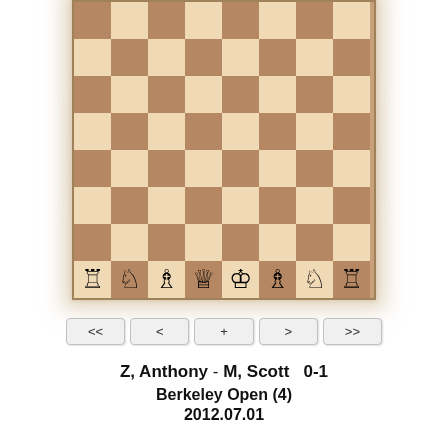[Figure (other): Chess board diagram showing white pieces on the back rank (rank 1): rook, knight, bishop, queen, king, bishop, knight, rook. Ranks 2-8 appear empty. The board has a partial view showing mostly the lower portion with the white pieces in their starting positions on rank 1.]
<< < + > >>
Z, Anthony - M, Scott   0-1
Berkeley Open (4)
2012.07.01